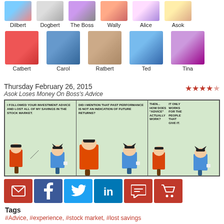[Figure (illustration): Character avatars row 1: Dilbert, Dogbert, The Boss, Wally, Alice, Asok]
[Figure (illustration): Character avatars row 2: Catbert, Carol, Ratbert, Ted, Tina]
Thursday February 26, 2015
Asok Loses Money On Boss's Advice
[Figure (illustration): Dilbert comic strip: Panel 1 - I FOLLOWED YOUR INVESTMENT ADVICE AND LOST ALL OF MY SAVINGS IN THE STOCK MARKET. Panel 2 - DID I MENTION THAT PAST PERFORMANCE IS NOT AN INDICATION OF FUTURE RETURNS? Panel 3 - THEN... HOW DOES 'ADVICE' ACTUALLY WORK? IT ONLY WORKS FOR THE PEOPLE THAT GIVE IT.]
Social sharing buttons: email, facebook, twitter, linkedin, comment, cart
Tags
#Advice, #experience, #stock market, #lost savings